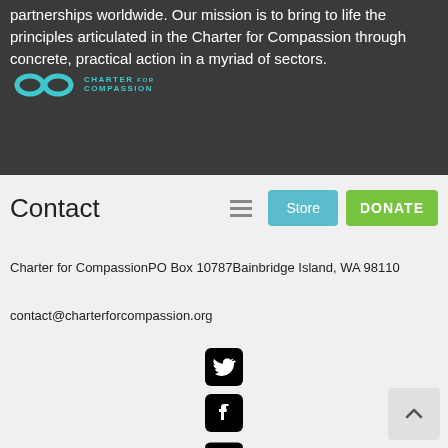partnerships worldwide. Our mission is to bring to life the principles articulated in the Charter for Compassion through concrete, practical action in a myriad of sectors.
[Figure (logo): Charter for Compassion logo with infinity symbol in teal and text 'CHARTER FOR COMPASSION']
Contact
Charter for CompassionPO Box 10787Bainbridge Island, WA 98110
contact@charterforcompassion.org
[Figure (illustration): Social media icons: Twitter, Facebook, YouTube, Instagram, Pinterest (black rounded square icons)]